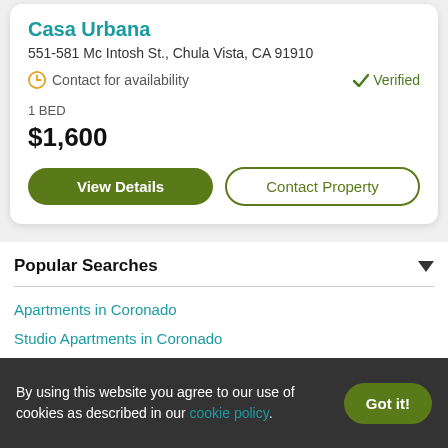Casa Urbana
551-581 Mc Intosh St., Chula Vista, CA 91910
Contact for availability   Verified
1 BED
$1,600
View Details   Contact Property
Popular Searches
Apartments in Coronado
Studio Apartments in Coronado
2 Bedroom Apartments in Coronado
Pet Friendly Apartments in Coronado
Luxury Apartments in Coronado
By using this website you agree to our use of cookies as described in our cookie policy.